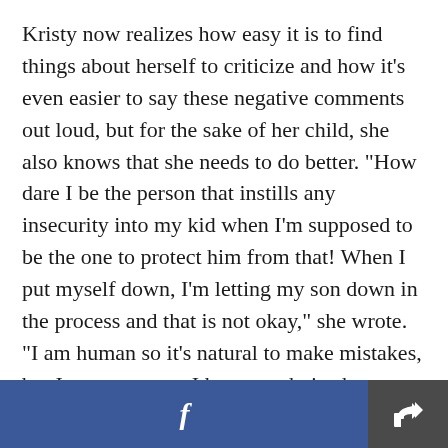Kristy now realizes how easy it is to find things about herself to criticize and how it's even easier to say these negative comments out loud, but for the sake of her child, she also knows that she needs to do better. "How dare I be the person that instills any insecurity into my kid when I'm supposed to be the one to protect him from that! When I put myself down, I'm letting my son down in the process and that is not okay," she wrote. "I am human so it's natural to make mistakes, but I am a mom so I have no choice but to learn from them and do better."